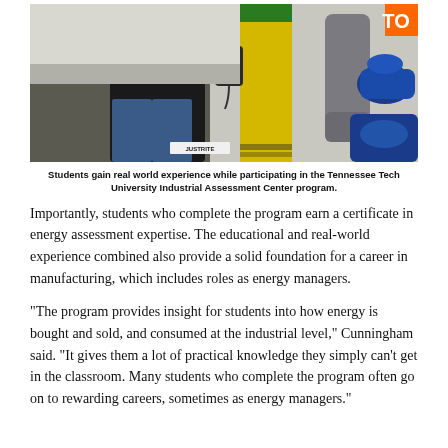[Figure (photo): A person in dark clothing uses a handheld electronic device near industrial equipment including yellow and gray piping/valves, in what appears to be a manufacturing or utility facility.]
Students gain real world experience while participating in the Tennessee Tech University Industrial Assessment Center program.
Importantly, students who complete the program earn a certificate in energy assessment expertise. The educational and real-world experience combined also provide a solid foundation for a career in manufacturing, which includes roles as energy managers.
“The program provides insight for students into how energy is bought and sold, and consumed at the industrial level,” Cunningham said. “It gives them a lot of practical knowledge they simply can’t get in the classroom. Many students who complete the program often go on to rewarding careers, sometimes as energy managers.”